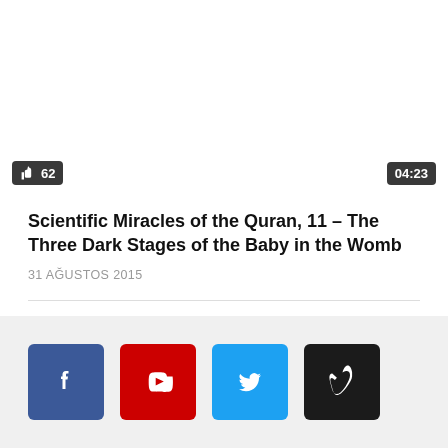[Figure (screenshot): Video thumbnail area showing a dark/blank video player with a like count badge showing 62 in the bottom-left and a duration badge showing 04:23 in the bottom-right]
Scientific Miracles of the Quran, 11 – The Three Dark Stages of the Baby in the Womb
31 AĞUSTOS 2015
[Figure (other): Social media icon buttons: Facebook (blue), YouTube (red), Twitter (light blue), Vimeo (black)]